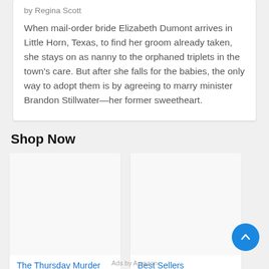by Regina Scott
When mail-order bride Elizabeth Dumont arrives in Little Horn, Texas, to find her groom already taken, she stays on as nanny to the orphaned triplets in the town's care. But after she falls for the babies, the only way to adopt them is by agreeing to marry minister Brandon Stillwater—her former sweetheart.
Shop Now
[Figure (other): Product card: The Thursday Murder Club: The Record-Bre... priced at $12.33 (was $17.00), 111681 reviews]
[Figure (other): Product card: Best Sellers priced at $3.99, 835 reviews]